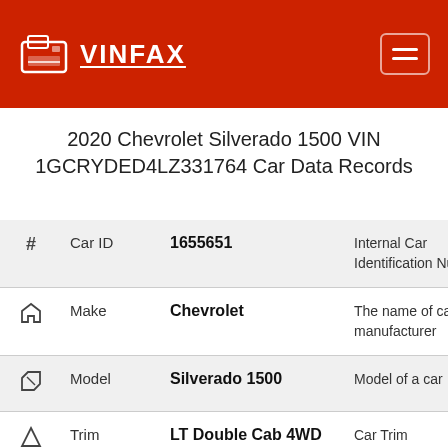VINFAX
2020 Chevrolet Silverado 1500 VIN 1GCRYDED4LZ331764 Car Data Records
| # | Field | Value | Description |
| --- | --- | --- | --- |
| # | Car ID | 1655651 | Internal Car Identification Number |
| 🏠 | Make | Chevrolet | The name of car manufacturer |
| 🏷 | Model | Silverado 1500 | Model of a car |
| △ | Trim | LT Double Cab 4WD | Car Trim |